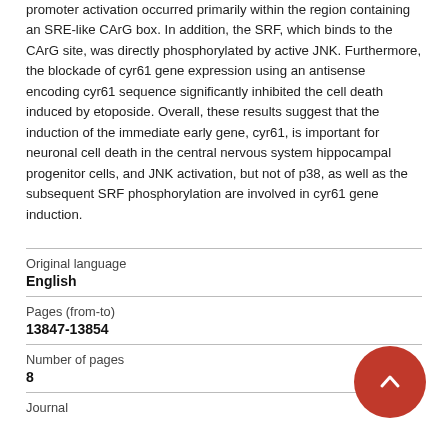promoter activation occurred primarily within the region containing an SRE-like CArG box. In addition, the SRF, which binds to the CArG site, was directly phosphorylated by active JNK. Furthermore, the blockade of cyr61 gene expression using an antisense encoding cyr61 sequence significantly inhibited the cell death induced by etoposide. Overall, these results suggest that the induction of the immediate early gene, cyr61, is important for neuronal cell death in the central nervous system hippocampal progenitor cells, and JNK activation, but not of p38, as well as the subsequent SRF phosphorylation are involved in cyr61 gene induction.
| Field | Value |
| --- | --- |
| Original language | English |
| Pages (from-to) | 13847-13854 |
| Number of pages | 8 |
| Journal |  |